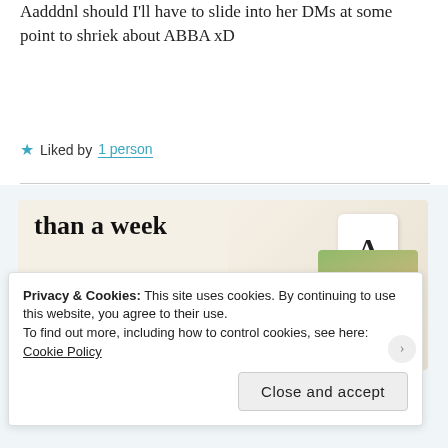Aadddnl should I'll have to slide into her DMs at some point to shriek about ABBA xD
★ Liked by 1 person
[Figure (screenshot): Advertisement banner with beige background showing text 'than a week', a green 'Explore options' button, and phone mockup graphics with food imagery and letter A logo]
Privacy & Cookies: This site uses cookies. By continuing to use this website, you agree to their use.
To find out more, including how to control cookies, see here:
Cookie Policy
Close and accept